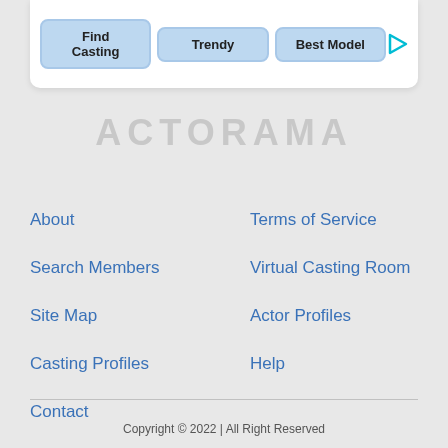[Figure (screenshot): Top navigation bar with three buttons: Find Casting, Trendy, Best Model, and a play button icon]
ACTORAMA
About
Terms of Service
Search Members
Virtual Casting Room
Site Map
Actor Profiles
Casting Profiles
Help
Contact
Copyright © 2022 | All Right Reserved